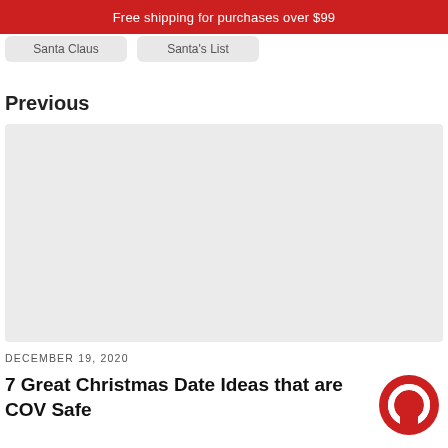Free shipping for purchases over $99
[Figure (screenshot): Two navigation button placeholders labeled 'Santa Claus' and 'Santa's List']
Previous
[Figure (photo): Large light gray image placeholder for article thumbnail]
DECEMBER 19, 2020
7 Great Christmas Date Ideas that are COV Safe
[Figure (logo): Red circular chat/logo icon in bottom right corner]